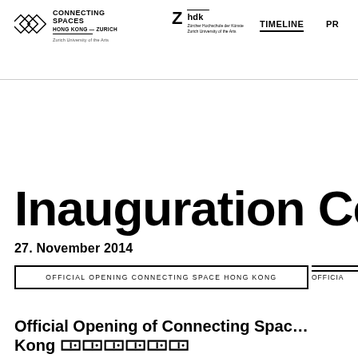CONNECTING SPACES HONG KONG — ZURICH | Zurich University of the Arts | ZHdK Zürcher Hochschule der Künste Zurich University of the Arts | TIMELINE | PR
Inauguration Ce
27. November 2014
OFFICIAL OPENING CONNECTING SPACE HONG KONG
OFFICIA
Official Opening of Connecting Spac… Kong 🀲🀲🀲🀲🀲🀲